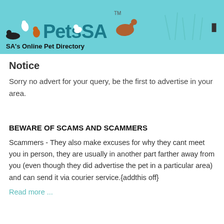PetsSA — SA's Online Pet Directory
Notice
Sorry no advert for your query, be the first to advertise in your area.
BEWARE OF SCAMS AND SCAMMERS
Scammers - They also make excuses for why they cant meet you in person, they are usually in another part farther away from you (even though they did advertise the pet in a particular area) and can send it via courier service.{addthis off}
Read more ...